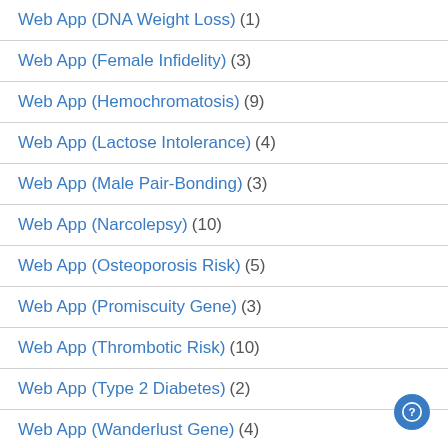Web App (DNA Weight Loss) (1)
Web App (Female Infidelity) (3)
Web App (Hemochromatosis) (9)
Web App (Lactose Intolerance) (4)
Web App (Male Pair-Bonding) (3)
Web App (Narcolepsy) (10)
Web App (Osteoporosis Risk) (5)
Web App (Promiscuity Gene) (3)
Web App (Thrombotic Risk) (10)
Web App (Type 2 Diabetes) (2)
Web App (Wanderlust Gene) (4)
Web App (Warrior Gene) (4)